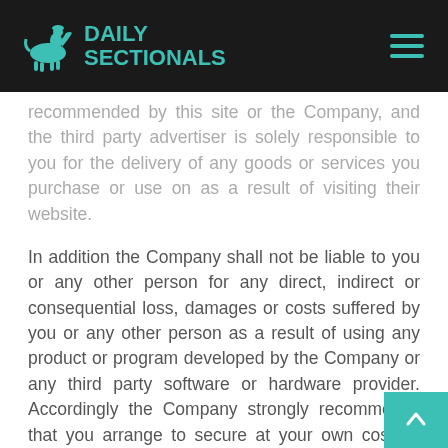DAILY SECTIONALS
recommended by this site or the Company, and the third party advertiser is solely responsible to you for the delivery of any goods or services you purchase or use on as a result of visiting their website.
In addition the Company shall not be liable to you or any other person for any direct, indirect or consequential loss, damages or costs suffered by you or any other person as a result of using any product or program developed by the Company or any third party software or hardware provider. Accordingly the Company strongly recommends that you arrange to secure at your own cost all data including but